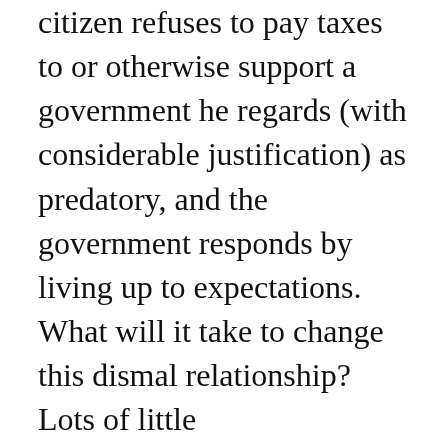citizen refuses to pay taxes to or otherwise support a government he regards (with considerable justification) as predatory, and the government responds by living up to expectations. What will it take to change this dismal relationship? Lots of little confidence-building measures, as well as an economy founded on incentive and reward, a tradition of civic responsibility, a government based upon the equitable rule of law... and other such